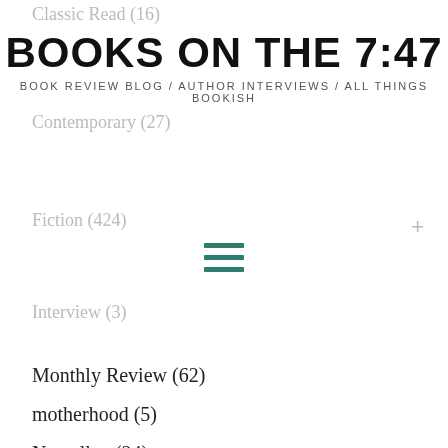Classic Read (16)
BOOKS ON THE 7:47 / BOOK REVIEW BLOG / AUTHOR INTERVIEWS / ALL THINGS BOOKISH
Contemporary (27)
Fiction (424)
Interview (3)
Monthly Review (62)
motherhood (5)
Netgalley (24)
Non-fiction (55)
Rated 5/5 (52)
Screenplay (1)
Top 5 (28)